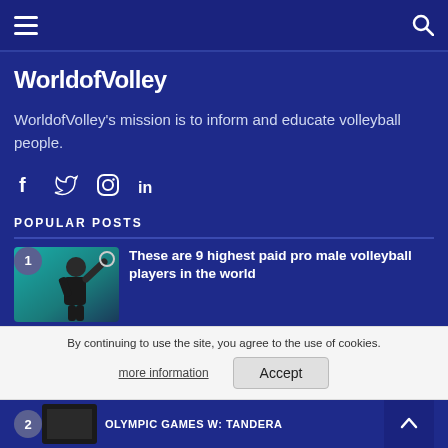WorldofVolley navigation bar with menu and search icons
WorldofVolley
WorldofVolley's mission is to inform and educate volleyball people.
[Figure (infographic): Social media icons: Facebook, Twitter, Instagram, LinkedIn]
POPULAR POSTS
[Figure (photo): Thumbnail of a male volleyball player against teal background, numbered badge '1']
These are 9 highest paid pro male volleyball players in the world
By continuing to use the site, you agree to the use of cookies.
more information
Accept
[Figure (photo): Thumbnail of second popular post, numbered badge '2']
OLYMPIC GAMES W: Tandera